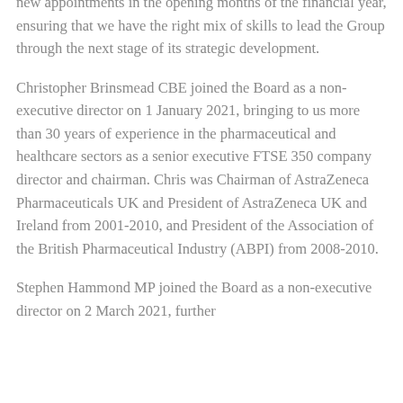new appointments in the opening months of the financial year, ensuring that we have the right mix of skills to lead the Group through the next stage of its strategic development.
Christopher Brinsmead CBE joined the Board as a non-executive director on 1 January 2021, bringing to us more than 30 years of experience in the pharmaceutical and healthcare sectors as a senior executive FTSE 350 company director and chairman. Chris was Chairman of AstraZeneca Pharmaceuticals UK and President of AstraZeneca UK and Ireland from 2001-2010, and President of the Association of the British Pharmaceutical Industry (ABPI) from 2008-2010.
Stephen Hammond MP joined the Board as a non-executive director on 2 March 2021, further